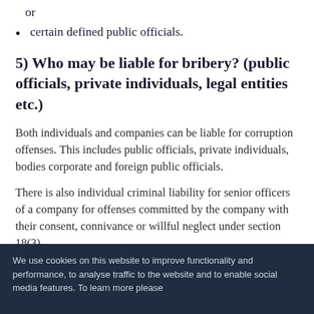or
certain defined public officials.
5) Who may be liable for bribery? (public officials, private individuals, legal entities etc.)
Both individuals and companies can be liable for corruption offenses. This includes public officials, private individuals, bodies corporate and foreign public officials.
There is also individual criminal liability for senior officers of a company for offenses committed by the company with their consent, connivance or willful neglect under section 18(3).
We use cookies on this website to improve functionality and performance, to analyse traffic to the website and to enable social media features. To learn more please